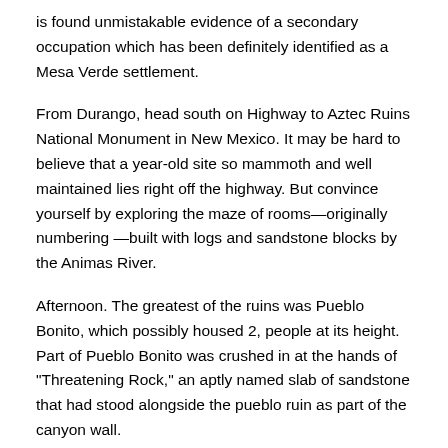is found unmistakable evidence of a secondary occupation which has been definitely identified as a Mesa Verde settlement.
From Durango, head south on Highway to Aztec Ruins National Monument in New Mexico. It may be hard to believe that a year-old site so mammoth and well maintained lies right off the highway. But convince yourself by exploring the maze of rooms—originally numbering —built with logs and sandstone blocks by the Animas River.
Afternoon. The greatest of the ruins was Pueblo Bonito, which possibly housed 2, people at its height. Part of Pueblo Bonito was crushed in at the hands of "Threatening Rock," an aptly named slab of sandstone that had stood alongside the pueblo ruin as part of the canyon wall.
The Animas River begins as a mountain torrent high in Colorado, gathering strength and volume as it descends southward into New Mexico. A green band of cottonwoods and willows marks the watercourse as it passes through high desert tablelands. Before